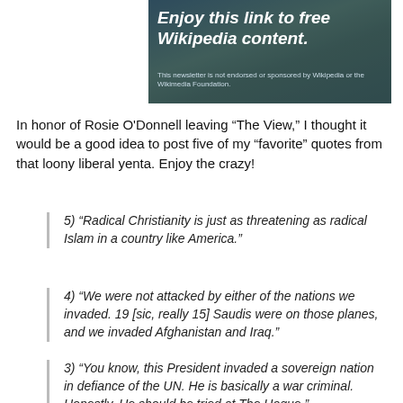[Figure (illustration): Banner image with dark nature/waterfall background and text overlay. Headline reads: 'Enjoy this link to free Wikipedia content.' Subtext: 'This newsletter is not endorsed or sponsored by Wikipedia or the Wikimedia Foundation.']
In honor of Rosie O'Donnell leaving “The View,” I thought it would be a good idea to post five of my “favorite” quotes from that loony liberal yenta. Enjoy the crazy!
5) “Radical Christianity is just as threatening as radical Islam in a country like America.”
4) “We were not attacked by either of the nations we invaded. 19 [sic, really 15] Saudis were on those planes, and we invaded Afghanistan and Iraq.”
3) “You know, this President invaded a sovereign nation in defiance of the UN. He is basically a war criminal. Honestly. He should be tried at The Hague.”